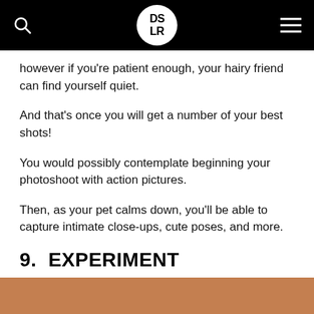DSLR
however if you're patient enough, your hairy friend can find yourself quiet.
And that's once you will get a number of your best shots!
You would possibly contemplate beginning your photoshoot with action pictures.
Then, as your pet calms down, you'll be able to capture intimate close-ups, cute poses, and more.
9.  EXPERIMENT
[Figure (photo): Partial view of a brown/tan colored surface, likely a pet animal, at the bottom of the page.]